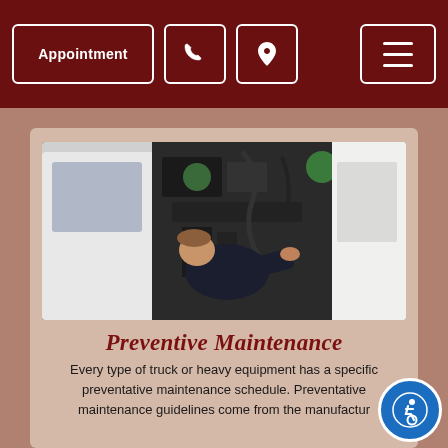Appointment | Phone | Location | Menu
[Figure (photo): A mechanic working under the hood of a large truck or heavy equipment, leaning into the engine bay, wearing a dark jacket]
Preventive Maintenance
Every type of truck or heavy equipment has a specific preventative maintenance schedule. Preventative maintenance guidelines come from the manufacturer and may be based on mileage or months